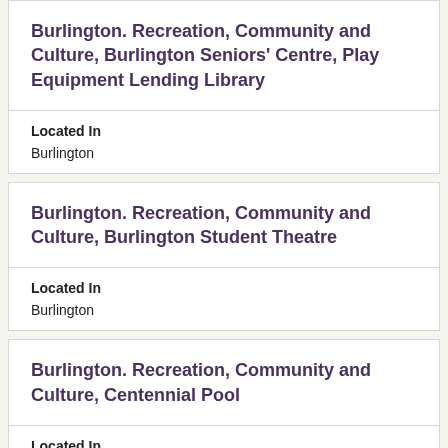Burlington. Recreation, Community and Culture, Burlington Seniors' Centre, Play Equipment Lending Library
Located In
Burlington
Burlington. Recreation, Community and Culture, Burlington Student Theatre
Located In
Burlington
Burlington. Recreation, Community and Culture, Centennial Pool
Located In
Burlington